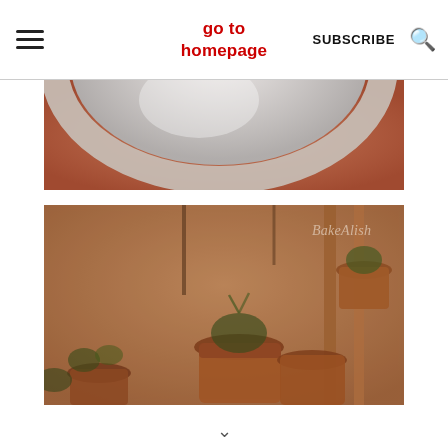go to homepage | SUBSCRIBE
[Figure (photo): Close-up top-down view of a white ceramic bowl or plate on a terracotta/brown surface, blurred/out of focus]
[Figure (photo): Blurred indoor scene with terracotta plant pots containing small plants on a wooden rack/shelf, warm brown tones, watermark 'BakeAlish' in upper right]